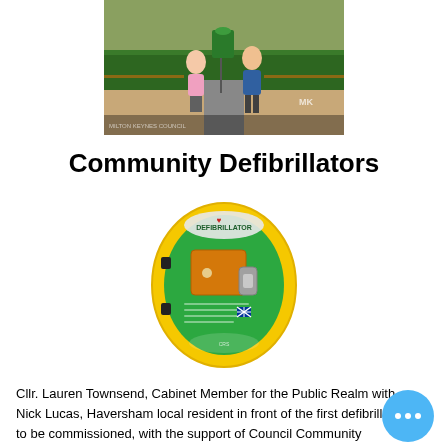[Figure (photo): Two people standing in front of an outdoor defibrillator cabinet mounted on a post, surrounded by greenery and a fence.]
Community Defibrillators
[Figure (photo): Close-up photograph of a yellow and green defibrillator cabinet/case with DEFIBRILLATOR text on it.]
Cllr. Lauren Townsend, Cabinet Member for the Public Realm with Nick Lucas, Haversham local resident in front of the first defibrillator to be commissioned, with the support of Council Community Infrastructure Fund